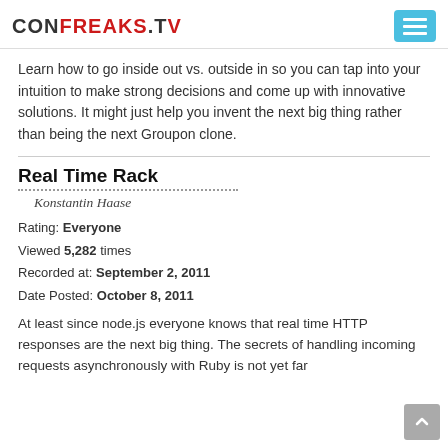CONFREAKS.TV
Learn how to go inside out vs. outside in so you can tap into your intuition to make strong decisions and come up with innovative solutions. It might just help you invent the next big thing rather than being the next Groupon clone.
Real Time Rack
Konstantin Haase
Rating: Everyone
Viewed 5,282 times
Recorded at: September 2, 2011
Date Posted: October 8, 2011
At least since node.js everyone knows that real time HTTP responses are the next big thing. The secrets of handling incoming requests asynchronously with Ruby is not yet far